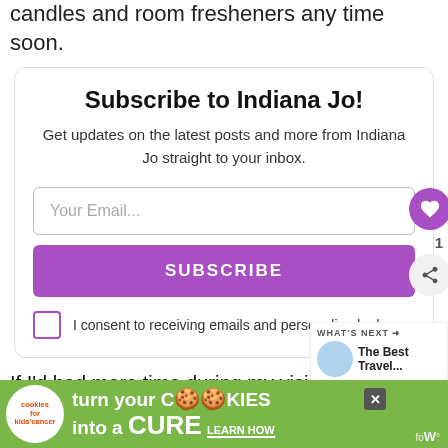candles and room fresheners any time soon.
Subscribe to Indiana Jo!
Get updates on the latest posts and more from Indiana Jo straight to your inbox.
[Figure (other): Email subscription form with input field, Subscribe button, and consent checkbox]
I consent to receiving emails and personalized ads.
If I'd had more time during my visit there were many more things I would have done, including Blast Off!... experiencing the
[Figure (other): What's Next promo block showing 'The Best Travel...' with icon]
[Figure (other): Advertisement banner: cookies for kids cancer - turn your COOKIES into a CURE LEARN HOW]